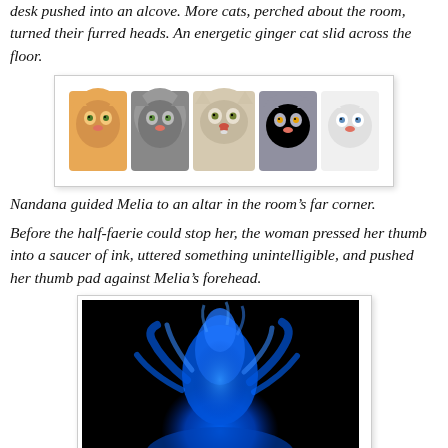desk pushed into an alcove. More cats, perched about the room, turned their furred heads. An energetic ginger cat slid across the floor.
[Figure (photo): Five kittens in a row against a white background: ginger, grey, fluffy light-colored, grey, and white.]
Nandana guided Melia to an altar in the room's far corner.
Before the half-faerie could stop her, the woman pressed her thumb into a saucer of ink, uttered something unintelligible, and pushed her thumb pad against Melia's forehead.
[Figure (photo): Blue ink dispersing in water against a black background, forming a dramatic cloud-like plume shape.]